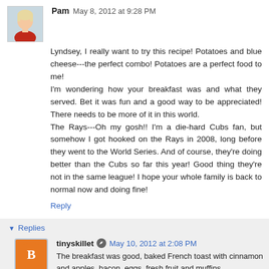[Figure (photo): Avatar photo of Pam, a woman with short blonde hair wearing a red top]
Pam May 8, 2012 at 9:28 PM
Lyndsey, I really want to try this recipe! Potatoes and blue cheese---the perfect combo! Potatoes are a perfect food to me!
I'm wondering how your breakfast was and what they served. Bet it was fun and a good way to be appreciated! There needs to be more of it in this world.
The Rays---Oh my gosh!! I'm a die-hard Cubs fan, but somehow I got hooked on the Rays in 2008, long before they went to the World Series. And of course, they're doing better than the Cubs so far this year! Good thing they're not in the same league! I hope your whole family is back to normal now and doing fine!
Reply
Replies
[Figure (illustration): Default Blogger avatar icon (orange circle with white B letter)]
tinyskillet May 10, 2012 at 2:08 PM
The breakfast was good, baked French toast with cinnamon and apples, bacon, eggs, fresh fruit and muffins.